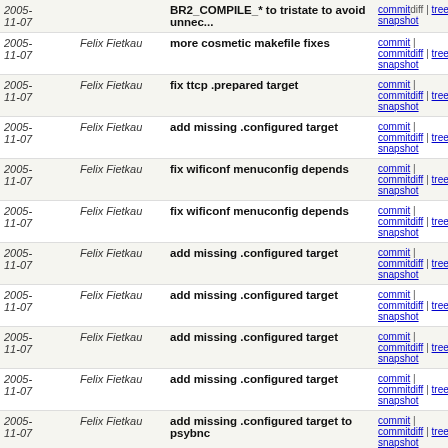| Date | Author | Commit Message | Links |
| --- | --- | --- | --- |
| 2005-11-07 | Felix Fietkau | BR2_COMPILE_* to tristate to avoid unnec... | commit | commitdiff | tree | snapshot |
| 2005-11-07 | Felix Fietkau | more cosmetic makefile fixes | commit | commitdiff | tree | snapshot |
| 2005-11-07 | Felix Fietkau | fix ttcp .prepared target | commit | commitdiff | tree | snapshot |
| 2005-11-07 | Felix Fietkau | add missing .configured target | commit | commitdiff | tree | snapshot |
| 2005-11-07 | Felix Fietkau | fix wificonf menuconfig depends | commit | commitdiff | tree | snapshot |
| 2005-11-07 | Felix Fietkau | fix wificonf menuconfig depends | commit | commitdiff | tree | snapshot |
| 2005-11-07 | Felix Fietkau | add missing .configured target | commit | commitdiff | tree | snapshot |
| 2005-11-07 | Felix Fietkau | add missing .configured target | commit | commitdiff | tree | snapshot |
| 2005-11-07 | Felix Fietkau | add missing .configured target | commit | commitdiff | tree | snapshot |
| 2005-11-07 | Felix Fietkau | add missing .configured target | commit | commitdiff | tree | snapshot |
| 2005-11-07 | Felix Fietkau | add missing .configured target to psybnc | commit | commitdiff | tree | snapshot |
| 2005-11-07 | Felix Fietkau | fix openswan rebuild | commit | commitdiff | tree | snapshot |
| 2005-11-07 | Felix Fietkau | fix image builder | commit | commitdiff | tree | snapshot |